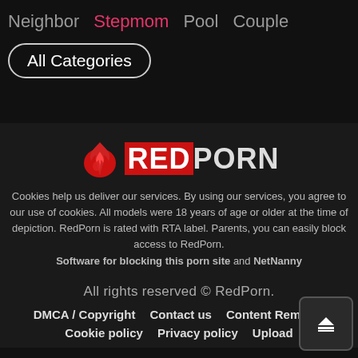Neighbor  Stepmom  Pool  Couple
All Categories
[Figure (logo): RedPorn logo with flame icon and red/white text]
Cookies help us deliver our services. By using our services, you agree to our use of cookies. All models were 18 years of age or older at the time of depiction. RedPorn is rated with RTA label. Parents, you can easily block access to RedPorn. Software for blocking this porn site and NetNanny
All rights reserved © RedPorn.
DMCA / Copyright  Contact us  Content Removal  Cookie policy  Privacy policy  Upload